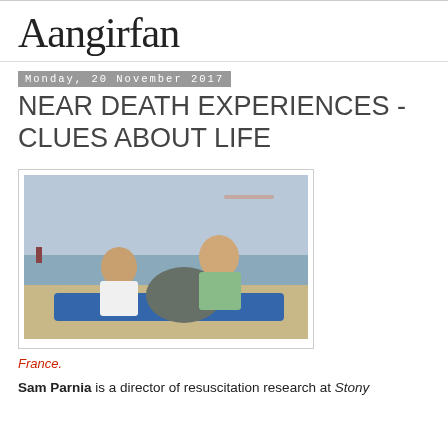Aangirfan
Monday, 20 November 2017
NEAR DEATH EXPERIENCES - CLUES ABOUT LIFE
[Figure (photo): Two children sitting on a blue surfboard at a beach in France, smiling and holding food items. One child wears a white t-shirt, the other wears a green t-shirt.]
France.
Sam Parnia is a director of resuscitation research at Stony